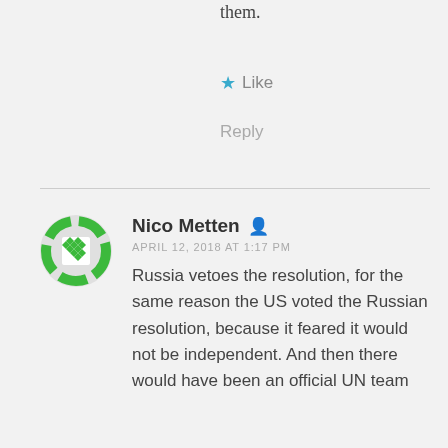them.
★ Like
Reply
Nico Metten
APRIL 12, 2018 AT 1:17 PM
Russia vetoes the resolution, for the same reason the US voted the Russian resolution, because it feared it would not be independent. And then there would have been an official UN team